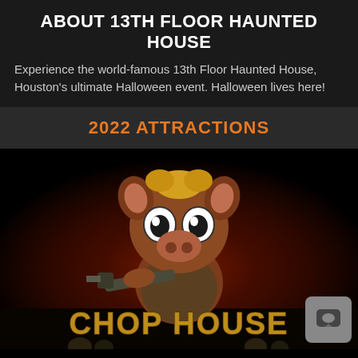ABOUT 13TH FLOOR HAUNTED HOUSE
Experience the world-famous 13th Floor Haunted House, Houston's ultimate Halloween event. Halloween lives here!
2022 ATTRACTIONS
[Figure (illustration): A horror character wearing a pig mascot head and holding a chainsaw, with 'CHOP HOUSE' text at the bottom, set against a dark, fiery background. Bottom-right corner has a small chat icon overlay.]